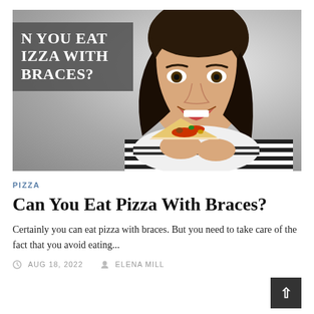[Figure (photo): A smiling young woman with dark hair wearing a black and white striped shirt, holding a slice of pizza up to her mouth showing braces. A dark gray overlay box in the upper left reads 'CAN YOU EAT PIZZA WITH BRACES?' in bold white serif text. The background is gray.]
PIZZA
Can You Eat Pizza With Braces?
Certainly you can eat pizza with braces. But you need to take care of the fact that you avoid eating...
AUG 18, 2022   ELENA MILL